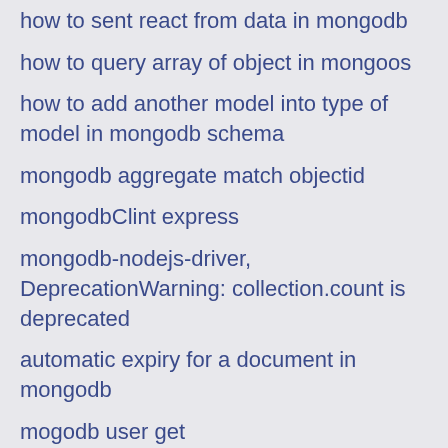how to sent react from data in mongodb
how to query array of object in mongoos
how to add another model into type of model in mongodb schema
mongodb aggregate match objectid
mongodbClint express
mongodb-nodejs-driver, DeprecationWarning: collection.count is deprecated
automatic expiry for a document in mongodb
mogodb user get
how expires mongodb
$match multiple conditions mongodb
working with multiple db in single query mongodb
Scotch.io - Create a CRUD App with Node and